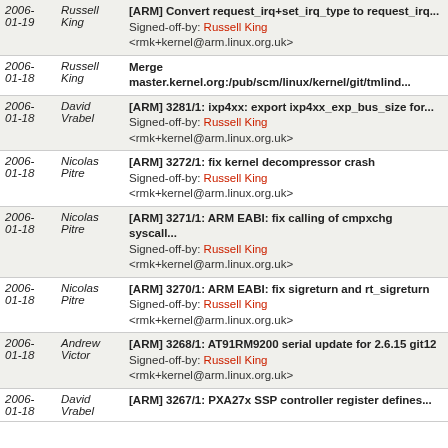| Date | Author | Message |
| --- | --- | --- |
| 2006-01-19 | Russell King | [ARM] Convert request_irq+set_irq_type to request_irq...
Signed-off-by: Russell King <rmk+kernel@arm.linux.org.uk> |
| 2006-01-18 | Russell King | Merge master.kernel.org:/pub/scm/linux/kernel/git/tmlind... |
| 2006-01-18 | David Vrabel | [ARM] 3281/1: ixp4xx: export ixp4xx_exp_bus_size for...
Signed-off-by: Russell King <rmk+kernel@arm.linux.org.uk> |
| 2006-01-18 | Nicolas Pitre | [ARM] 3272/1: fix kernel decompressor crash
Signed-off-by: Russell King <rmk+kernel@arm.linux.org.uk> |
| 2006-01-18 | Nicolas Pitre | [ARM] 3271/1: ARM EABI: fix calling of cmpxchg syscall...
Signed-off-by: Russell King <rmk+kernel@arm.linux.org.uk> |
| 2006-01-18 | Nicolas Pitre | [ARM] 3270/1: ARM EABI: fix sigreturn and rt_sigreturn
Signed-off-by: Russell King <rmk+kernel@arm.linux.org.uk> |
| 2006-01-18 | Andrew Victor | [ARM] 3268/1: AT91RM9200 serial update for 2.6.15 git12
Signed-off-by: Russell King <rmk+kernel@arm.linux.org.uk> |
| 2006-01-18 | David Vrabel | [ARM] 3267/1: PXA27x SSP controller register defines... |